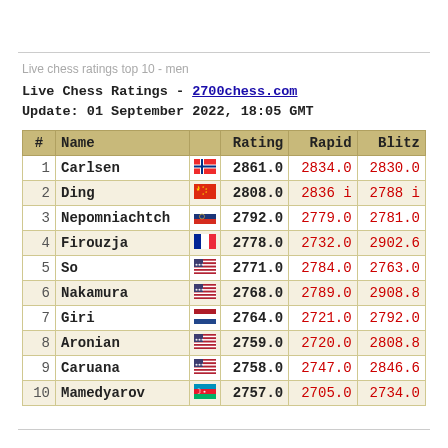Live chess ratings top 10 - men
Live Chess Ratings - 2700chess.com
Update: 01 September 2022, 18:05 GMT
| # | Name |  | Rating | Rapid | Blitz |
| --- | --- | --- | --- | --- | --- |
| 1 | Carlsen | [NO] | 2861.0 | 2834.0 | 2830.0 |
| 2 | Ding | [CN] | 2808.0 | 2836 i | 2788 i |
| 3 | Nepomniachtch | [RU] | 2792.0 | 2779.0 | 2781.0 |
| 4 | Firouzja | [FR] | 2778.0 | 2732.0 | 2902.6 |
| 5 | So | [US] | 2771.0 | 2784.0 | 2763.0 |
| 6 | Nakamura | [US] | 2768.0 | 2789.0 | 2908.8 |
| 7 | Giri | [NL] | 2764.0 | 2721.0 | 2792.0 |
| 8 | Aronian | [US] | 2759.0 | 2720.0 | 2808.8 |
| 9 | Caruana | [US] | 2758.0 | 2747.0 | 2846.6 |
| 10 | Mamedyarov | [AZ] | 2757.0 | 2705.0 | 2734.0 |